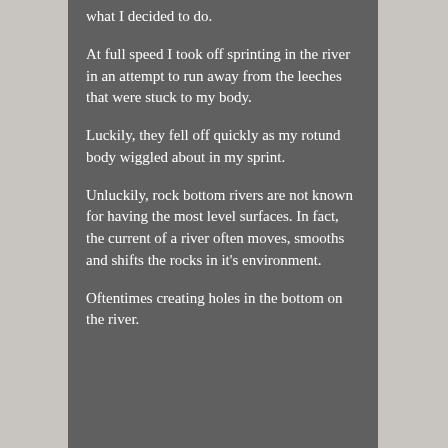what I decided to do.
At full speed I took off sprinting in the river in an attempt to run away from the leeches that were stuck to my body.
Luckily, they fell off quickly as my rotund body wiggled about in my sprint.
Unluckily, rock bottom rivers are not known for having the most level surfaces. In fact, the current of a river often moves, smooths and shifts the rocks in it's environment.
Oftentimes creating holes in the bottom on the river.